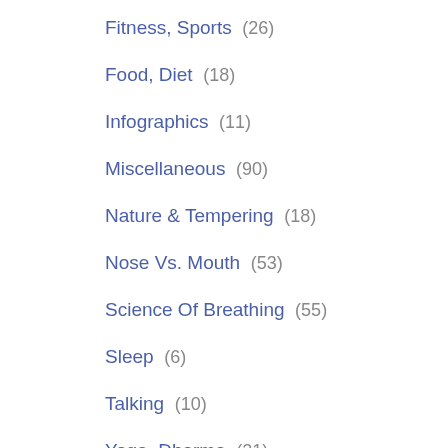Fitness, Sports  (26)
Food, Diet  (18)
Infographics  (11)
Miscellaneous  (90)
Nature & Tempering  (18)
Nose Vs. Mouth  (53)
Science Of Breathing  (55)
Sleep  (6)
Talking  (10)
Yoga, Dharma  (21)